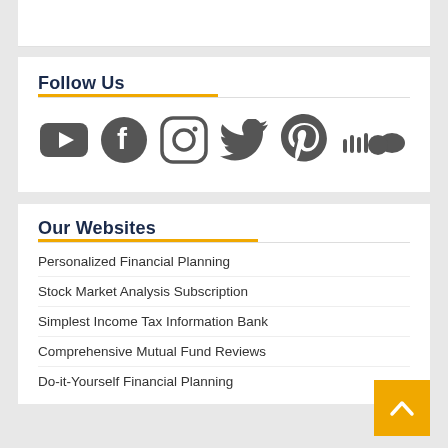Follow Us
[Figure (illustration): Social media icons row: YouTube, Facebook, Instagram, Twitter, Pinterest, SoundCloud]
Our Websites
Personalized Financial Planning
Stock Market Analysis Subscription
Simplest Income Tax Information Bank
Comprehensive Mutual Fund Reviews
Do-it-Yourself Financial Planning